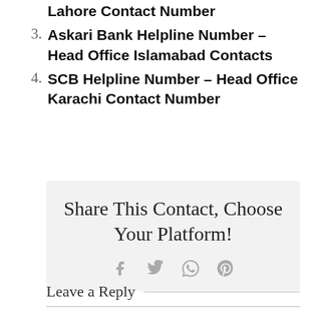Lahore Contact Number
Askari Bank Helpline Number – Head Office Islamabad Contacts
SCB Helpline Number – Head Office Karachi Contact Number
Share This Contact, Choose Your Platform!
Leave a Reply